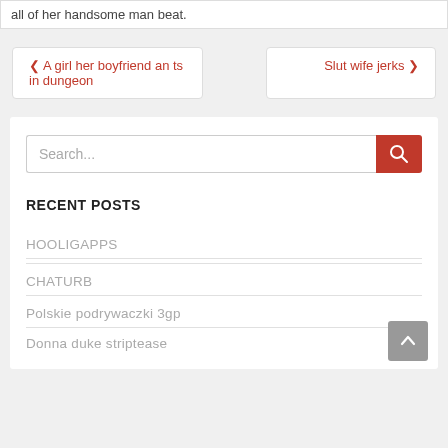all of her handsome man beat.
❮ A girl her boyfriend an ts in dungeon
Slut wife jerks ❯
Search...
RECENT POSTS
HOOLIGAPPS
CHATURB
Polskie podrywaczki 3gp
Donna duke striptease